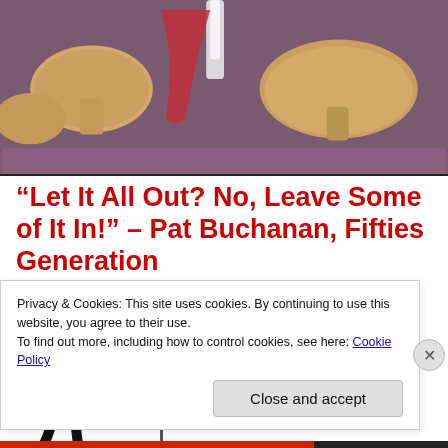[Figure (illustration): Colorful illustrated scene showing figures with mushroom-like objects on a purple/mauve background, partially cropped at top]
“Let It All Out? No, Leave Some of It In!” – Pat Buchanan, Fifties Generation
[Figure (illustration): Black silhouette of a person pointing with one arm extended]
No doubt those who criticized these youth in the past are some of the
Privacy & Cookies: This site uses cookies. By continuing to use this website, you agree to their use.
To find out more, including how to control cookies, see here: Cookie Policy
Close and accept